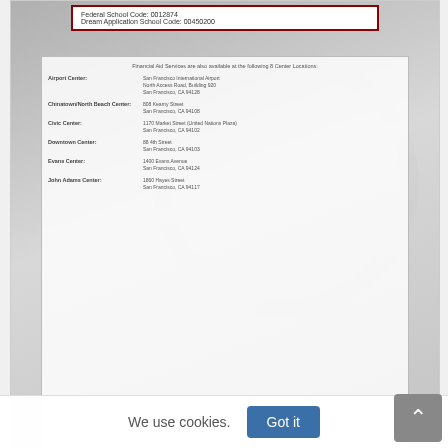[Figure (photo): Blurred/low-resolution image of a City College of San Francisco Financial Aid document showing Federal School Code: 0012874, Dream Application School Code: 00450200, and a table of Financial Aid Services locations including Airport Center, Chinatown/North Beach Center, Civic Center, Downtown Center, Evans Center, and John Adams Center with their respective San Francisco addresses. A faint circular seal watermark is visible in the background.]
CITY COLLEGE OF SAN FRANCISCO FINANCIAL AID CONSUMER INFORMATION - CCSF
Arts & Entertainment   English
We use cookies.